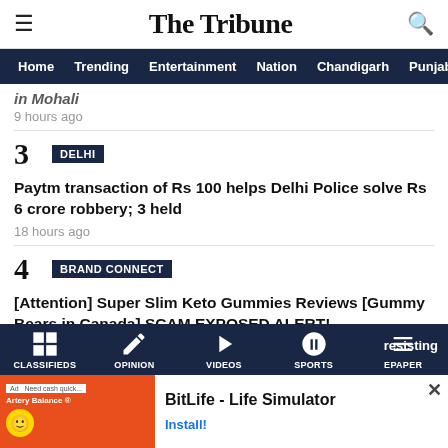The Tribune
Home  Trending  Entertainment  Nation  Chandigarh  Punjab
in Mohali
9 hours ago
3 DELHI — Paytm transaction of Rs 100 helps Delhi Police solve Rs 6 crore robbery; 3 held — 18 hours ago
4 BRAND CONNECT — [Attention] Super Slim Keto Gummies Reviews [Gummy Bears in Canada] SCAM EXPOSED ALERT! — 19 hours ago
5 HARYANA — resisting
CLASSIFIEDS  OPINION  VIDEOS  SPORTS  EPAPER
[Figure (screenshot): BitLife - Life Simulator advertisement banner at the bottom of the page]